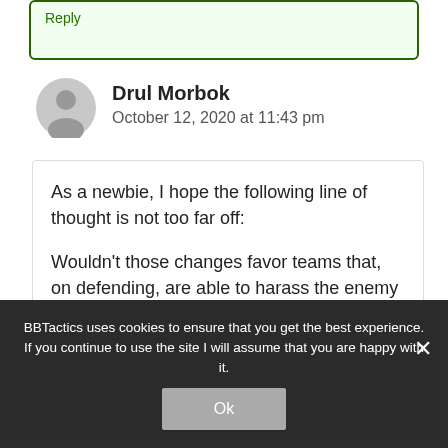Reply
Drul Morbok
October 12, 2020 at 11:43 pm
As a newbie, I hope the following line of thought is not too far off:

Wouldn't those changes favor teams that, on defending, are able to harass the enemy ball carrier as early as possible, attempting to steal the ball and score a counter TD?
BBTactics uses cookies to ensure that you get the best experience. If you continue to use the site I will assume that you are happy with it.